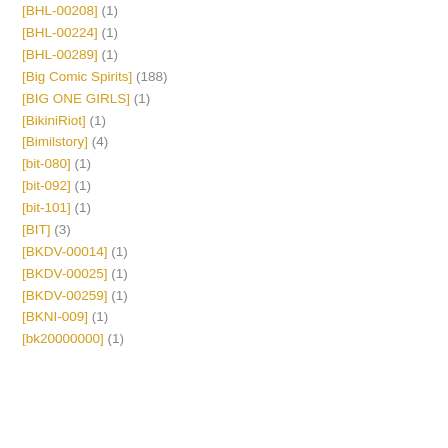[BHL-00208] (1)
[BHL-00224] (1)
[BHL-00289] (1)
[Big Comic Spirits] (188)
[BIG ONE GIRLS] (1)
[BikiniRiot] (1)
[Bimilstory] (4)
[bit-080] (1)
[bit-092] (1)
[bit-101] (1)
[BIT] (3)
[BKDV-00014] (1)
[BKDV-00025] (1)
[BKDV-00259] (1)
[BKNI-009] (1)
[bk20000000] (1)